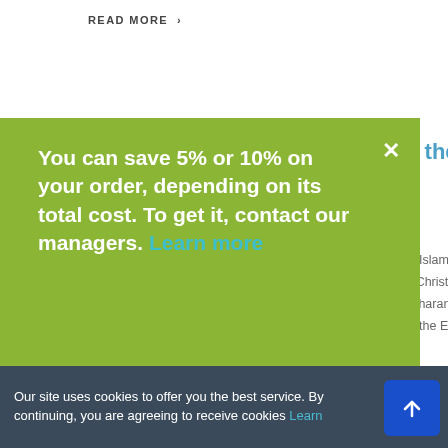READ MORE ›
[Figure (screenshot): Green popup overlay with discount message: 'You can save 5% or 10% on your order, depending on its total cost. To get it, contact our managers. Learn more' with close X button]
... the african continent
...ons, Islam, Religion And Society ...ion: Christianity and Islam both ...o-Saharan Photography ...th in the East and Western. In
READ MORE ›
Hermeneutics martha hinkle banks and sandra hack
Hacking Theological Reflections Exegesis Textual...
Our site uses cookies to offer you the best ser... continuing, you are agreeing to receive cookies Learn